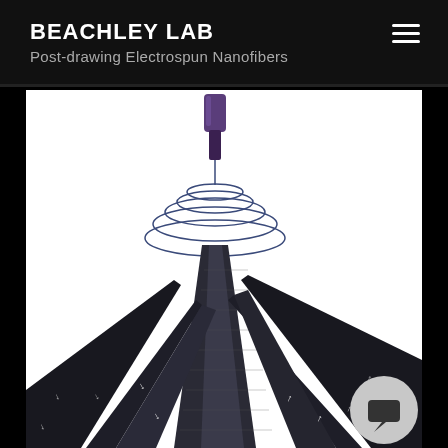BEACHLEY LAB – Post-drawing Electrospun Nanofibers
[Figure (illustration): 3D scientific illustration of electrospinning process showing a purple needle/spinneret at top with a helical fiber whipping down onto a split drum collector, dark ribbon-like substrates fanning outward with white arrows indicating movement directions]